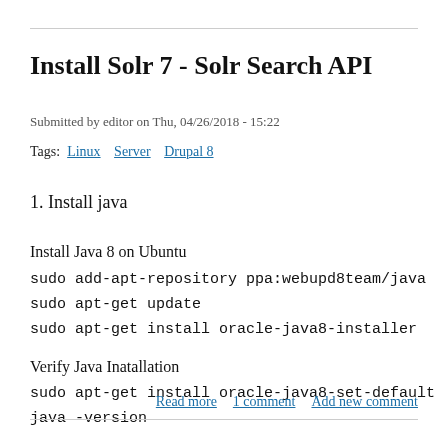Install Solr 7 - Solr Search API
Submitted by editor on Thu, 04/26/2018 - 15:22
Tags: Linux  Server  Drupal 8
1. Install java
Install Java 8 on Ubuntu
sudo add-apt-repository ppa:webupd8team/java
sudo apt-get update
sudo apt-get install oracle-java8-installer
Verify Java Inatallation
sudo apt-get install oracle-java8-set-default
java -version
Read more  1 comment  Add new comment